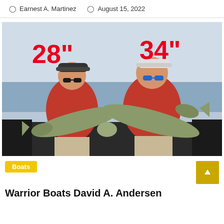Earnest A. Martinez    August 15, 2022
[Figure (photo): Two men in red shirts standing on a fishing boat on open water, each holding a large walleye fish. Red text overlaid on the image reads '28"' above the left man's fish and '34"' above the right man's fish.]
Boats
Warrior Boats David A. Andersen